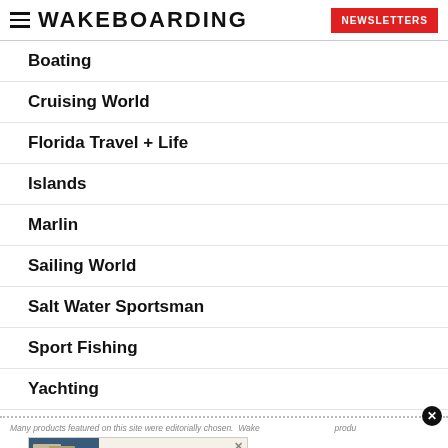WAKEBOARDING — NEWSLETTERS
Boating
Cruising World
Florida Travel + Life
Islands
Marlin
Sailing World
Salt Water Sportsman
Sport Fishing
Yachting
Many products featured on this site were editorially chosen. Wake... products...
[Figure (other): Subscribe to Boating advertisement banner with magazine cover images, Save 74%, One Year for Just $14]